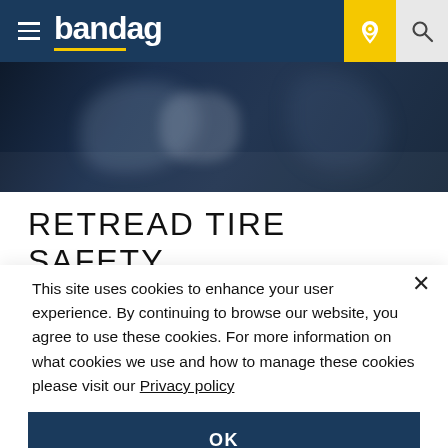bandag
[Figure (photo): Dark blue industrial/tire machinery photo used as hero banner]
RETREAD TIRE SAFETY
This site uses cookies to enhance your user experience. By continuing to browse our website, you agree to use these cookies. For more information on what cookies we use and how to manage these cookies please visit our Privacy policy
OK